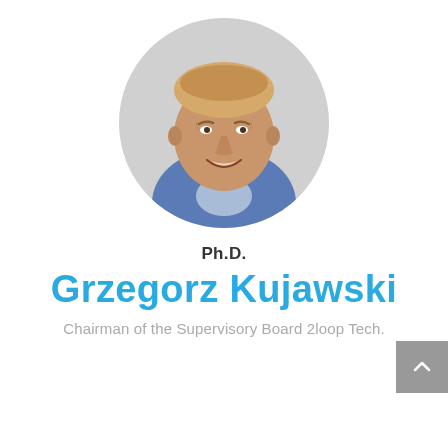[Figure (photo): Circular portrait photo of Grzegorz Kujawski, a smiling middle-aged man with short blond hair wearing a blue suit jacket, set against a light grey circular background.]
Ph.D.
Grzegorz Kujawski
Chairman of the Supervisory Board 2loop Tech.